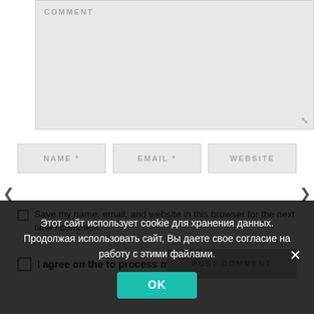[Figure (screenshot): Comment textarea input field with gray background and placeholder text COMMENT, with resize handle in bottom right]
[Figure (screenshot): Three input fields in a row: NAME *, EMAIL *, WEBSITE — all gray background with uppercase placeholder text]
Save my name, email, and website in this browser for the next time I comment.
I agree on the to process my
POST COMMENT
Этот сайт использует cookie для хранения данных. Продолжая использовать сайт, Вы даете свое согласие на работу с этими файлами.
OK